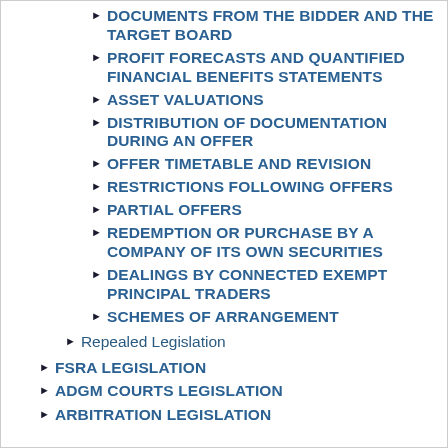DOCUMENTS FROM THE BIDDER AND THE TARGET BOARD
PROFIT FORECASTS AND QUANTIFIED FINANCIAL BENEFITS STATEMENTS
ASSET VALUATIONS
DISTRIBUTION OF DOCUMENTATION DURING AN OFFER
OFFER TIMETABLE AND REVISION
RESTRICTIONS FOLLOWING OFFERS
PARTIAL OFFERS
REDEMPTION OR PURCHASE BY A COMPANY OF ITS OWN SECURITIES
DEALINGS BY CONNECTED EXEMPT PRINCIPAL TRADERS
SCHEMES OF ARRANGEMENT
Repealed Legislation
FSRA LEGISLATION
ADGM COURTS LEGISLATION
ARBITRATION LEGISLATION